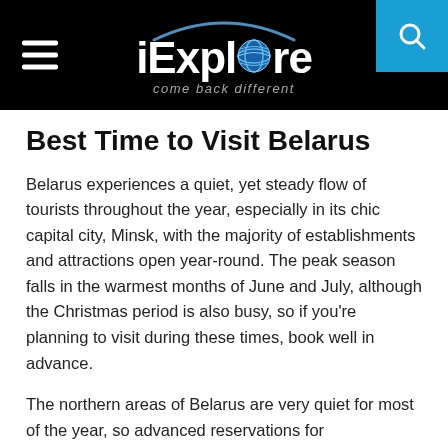iExplore — come back different
Best Time to Visit Belarus
Belarus experiences a quiet, yet steady flow of tourists throughout the year, especially in its chic capital city, Minsk, with the majority of establishments and attractions open year-round. The peak season falls in the warmest months of June and July, although the Christmas period is also busy, so if you're planning to visit during these times, book well in advance.
The northern areas of Belarus are very quiet for most of the year, so advanced reservations for accommodation is not